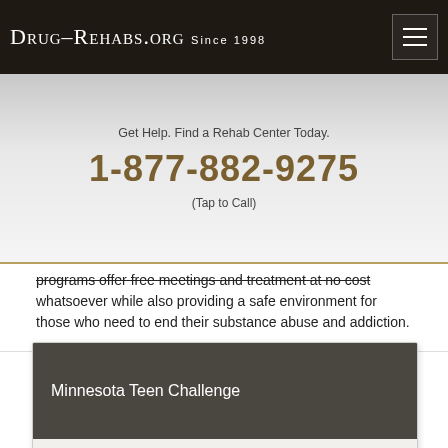Drug-Rehabs.org Since 1998
Get Help. Find a Rehab Center Today.
1-877-882-9275
(Tap to Call)
programs offer free meetings and treatment at no cost whatsoever while also providing a safe environment for those who need to end their substance abuse and addiction.
Minnesota Teen Challenge
(Minnesota Teen Challenge is a free substance